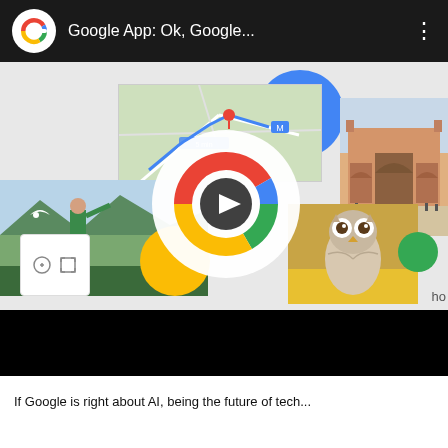[Figure (screenshot): YouTube-style video thumbnail embed showing Google App: Ok, Google... video with collage of images including a map, Taj Mahal photo, selfie on mountain, owl photo, Google logo play button overlay, and colored circles (blue, yellow, green). Black title bar at top with Google G logo and three-dot menu. Black video bar below.]
If Google is right about AI, being the future of technology...